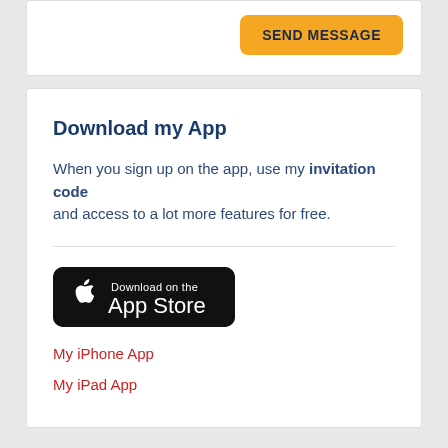[Figure (other): Yellow 'SEND MESSAGE' button in top card area]
Download my App
When you sign up on the app, use my invitation code and access to a lot more features for free.
[Figure (logo): Download on the App Store badge (black rounded rectangle with Apple logo)]
My iPhone App
My iPad App